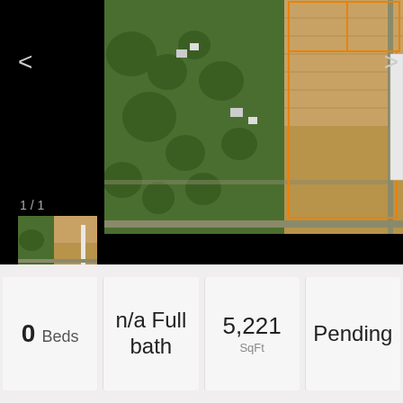[Figure (photo): Aerial satellite view of a rural property with green trees, buildings, and open fields. Orange boundary lines mark the property parcels. The image shows residential and agricultural land.]
1 / 1
0 Beds
n/a Full bath
5,221 SqFt
Pending